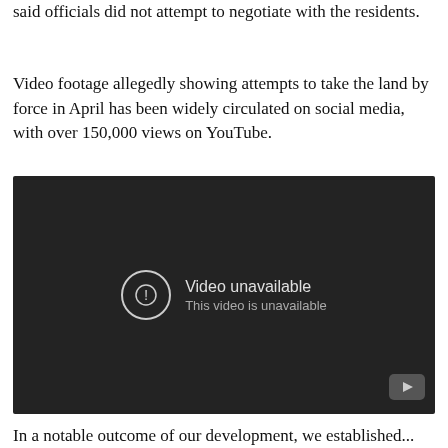said officials did not attempt to negotiate with the residents.
Video footage allegedly showing attempts to take the land by force in April has been widely circulated on social media, with over 150,000 views on YouTube.
[Figure (screenshot): Embedded YouTube video player showing 'Video unavailable — This video is unavailable' error message on a dark background.]
In a notable outcome of our development, we established...